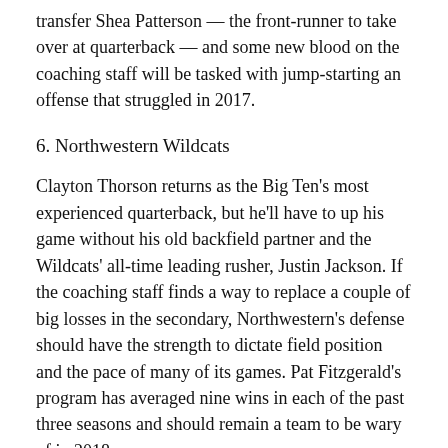transfer Shea Patterson — the front-runner to take over at quarterback — and some new blood on the coaching staff will be tasked with jump-starting an offense that struggled in 2017.
6. Northwestern Wildcats
Clayton Thorson returns as the Big Ten's most experienced quarterback, but he'll have to up his game without his old backfield partner and the Wildcats' all-time leading rusher, Justin Jackson. If the coaching staff finds a way to replace a couple of big losses in the secondary, Northwestern's defense should have the strength to dictate field position and the pace of many of its games. Pat Fitzgerald's program has averaged nine wins in each of the past three seasons and should remain a team to be wary of in 2018.